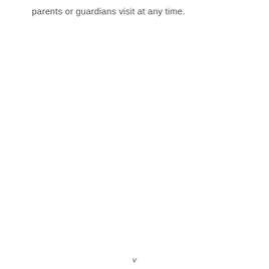parents or guardians visit at any time.
v